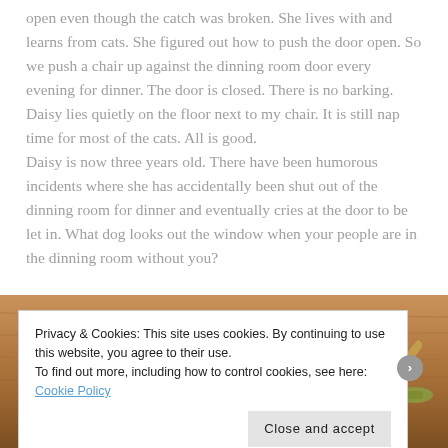open even though the catch was broken. She lives with and learns from cats. She figured out how to push the door open. So we push a chair up against the dinning room door every evening for dinner. The door is closed. There is no barking. Daisy lies quietly on the floor next to my chair. It is still nap time for most of the cats. All is good.
Daisy is now three years old. There have been humorous incidents where she has accidentally been shut out of the dinning room for dinner and eventually cries at the door to be let in. What dog looks out the window when your people are in the dinning room without you?
[Figure (photo): Photo of a cat lying on a wooden floor, with a toy or object visible nearby. Warm wood tones.]
Privacy & Cookies: This site uses cookies. By continuing to use this website, you agree to their use.
To find out more, including how to control cookies, see here: Cookie Policy